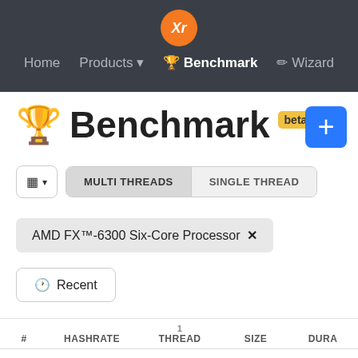Home  Products  Benchmark  Wizard
Benchmark beta
MULTI THREADS  SINGLE THREAD
AMD FX™-6300 Six-Core Processor ✕
Recent
| # | HASHRATE | 1 THREAD | SIZE | DURA |
| --- | --- | --- | --- | --- |
| 1 | 1887.91 | 314.65 | 1MH | 529 |